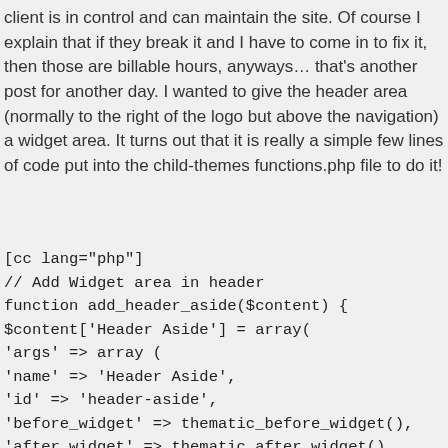client is in control and can maintain the site. Of course I explain that if they break it and I have to come in to fix it, then those are billable hours, anyways… that's another post for another day. I wanted to give the header area (normally to the right of the logo but above the navigation) a widget area. It turns out that it is really a simple few lines of code put into the child-themes functions.php file to do it!
[cc lang="php"]
// Add Widget area in header
function add_header_aside($content) {
$content['Header Aside'] = array(
'args' => array (
'name' => 'Header Aside',
'id' => 'header-aside',
'before_widget' => thematic_before_widget(),
'after_widget' => thematic_after_widget(),
'before_title' => thematic_before_title(),